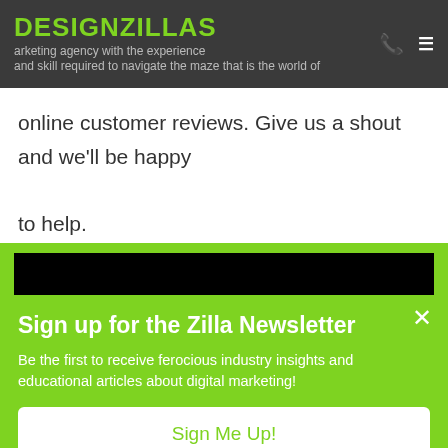DESIGNZILLAS — marketing agency with the experience and skill required to navigate the maze that is the world of online customer reviews. Give us a shout and we'll be happy to help.
online customer reviews. Give us a shout and we'll be happy to help.
[Figure (screenshot): Black video thumbnail area with overlaid text: SEO isn't as complicated as it used to be. Our]
Sign up for the Zilla Newsletter
Be the first to receive ferocious industry insights and educational articles about digital marketing!
Sign Me Up!